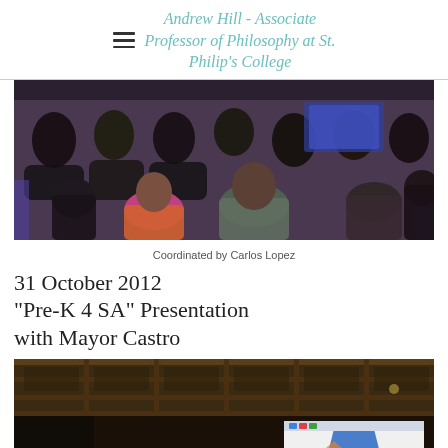Andrew Hill - Associate Professor of Philosophy at St. Philip's College
[Figure (photo): Audience members seated in purple chairs viewed from behind, attending a lecture or presentation in a classroom or auditorium setting.]
Coordinated by Carlos Lopez
31 October 2012 "Pre-K 4 SA" Presentation with Mayor Castro
[Figure (photo): Dark room with coffered ceiling, a projection screen displaying a presentation with colorful slides visible at the bottom of the image.]